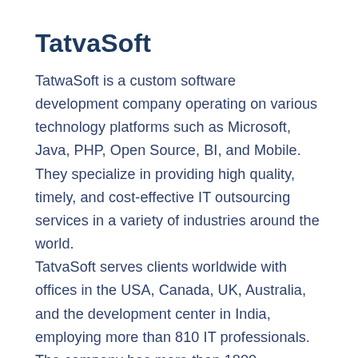TatvaSoft
TatwaSoft is a custom software development company operating on various technology platforms such as Microsoft, Java, PHP, Open Source, BI, and Mobile. They specialize in providing high quality, timely, and cost-effective IT outsourcing services in a variety of industries around the world.
TatvaSoft serves clients worldwide with offices in the USA, Canada, UK, Australia, and the development center in India, employing more than 810 IT professionals. The company has more than 1800 successfully